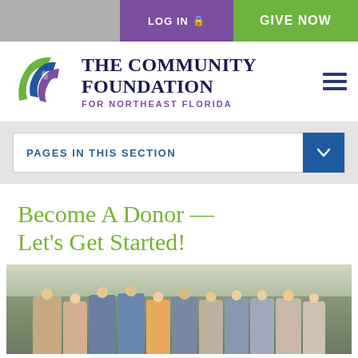LOG IN  GIVE NOW
[Figure (logo): The Community Foundation for Northeast Florida logo with triangular swoosh graphic in blue, purple, and green]
THE COMMUNITY FOUNDATION FOR NORTHEAST FLORIDA
PAGES IN THIS SECTION
Become A Donor — Let's Get Started!
[Figure (photo): Group photo of approximately 12 people standing together outdoors in front of a building, dressed in business casual and professional attire]